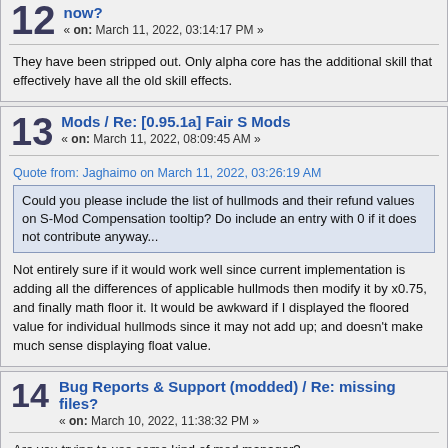They have been stripped out. Only alpha core has the additional skill that effectively have all the old skill effects.
13 Mods / Re: [0.95.1a] Fair S Mods « on: March 11, 2022, 08:09:45 AM »
Quote from: Jaghaimo on March 11, 2022, 03:26:19 AM
Could you please include the list of hullmods and their refund values on S-Mod Compensation tooltip? Do include an entry with 0 if it does not contribute anyway...
Not entirely sure if it would work well since current implementation is adding all the differences of applicable hullmods then modify it by x0.75, and finally math floor it. It would be awkward if I displayed the floored value for individual hullmods since it may not add up; and doesn't make much sense displaying float value.
14 Bug Reports & Support (modded) / Re: missing files? « on: March 10, 2022, 11:38:32 PM »
Are you trying to use some kind of mod manager?
It seems like you have up to date Modern Carriers hullmod CSV but none of the graphics for the additions since .... idk what